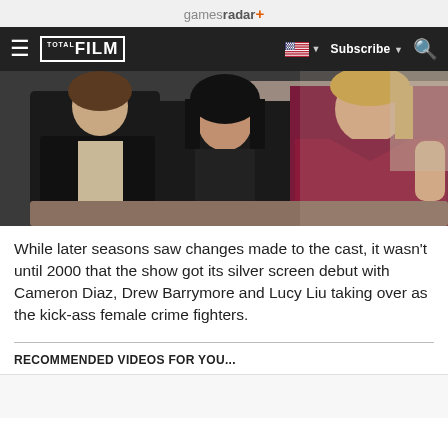gamesradar+
FILM | Subscribe | Search
[Figure (photo): Three women sitting together in a film still, one in a black jacket on the left, one in a black leather top in the center, and one in a dark red/maroon dress on the right.]
While later seasons saw changes made to the cast, it wasn't until 2000 that the show got its silver screen debut with Cameron Diaz, Drew Barrymore and Lucy Liu taking over as the kick-ass female crime fighters.
RECOMMENDED VIDEOS FOR YOU...